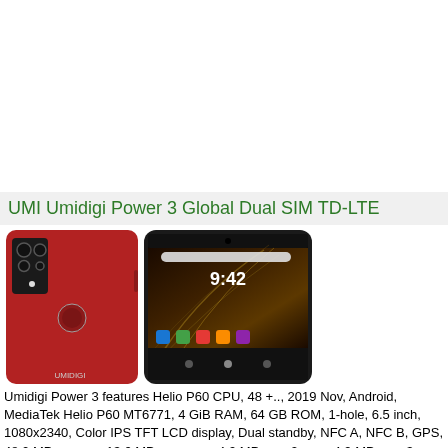UMI Umidigi Power 3 Global Dual SIM TD-LTE
[Figure (photo): Red UMI Umidigi Power 3 smartphone shown from front and back, displaying a dark abstract wallpaper on its screen with the time 9:42, and the rear showing a quad-camera module and fingerprint sensor.]
Umidigi Power 3 features Helio P60 CPU, 48 +.., 2019 Nov, Android, MediaTek Helio P60 MT6771, 4 GiB RAM, 64 GB ROM, 1-hole, 6.5 inch, 1080x2340, Color IPS TFT LCD display, Dual standby, NFC A, NFC B, GPS, 48.0 MP camera, 13.0 MP aux. cam, 4.9 MP aux. 2 cam, 4.9 MP aux. 3 cam, 15.9 MP sec. cam, L sensor,